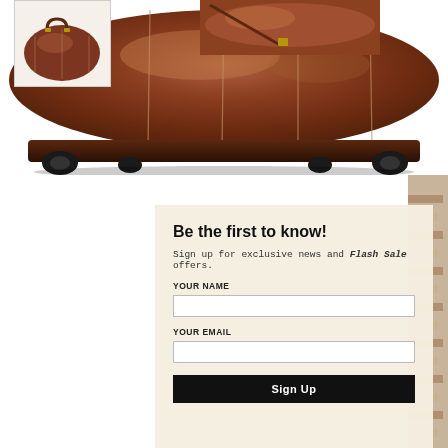[Figure (photo): Large close-up photo of a brown leather rolling duffel bag showing the bottom with wheels, vertical stitching lines visible on the body]
[Figure (photo): Small thumbnail of brown leather duffel bag with handles shown from front]
[Figure (photo): Partial thumbnail of brown leather bag with strap]
[Figure (photo): Partial image of wooden stairs on right edge]
Be the first to know!
Sign up for exclusive news and Flash Sale offers.
YOUR NAME
YOUR EMAIL
Sign Up